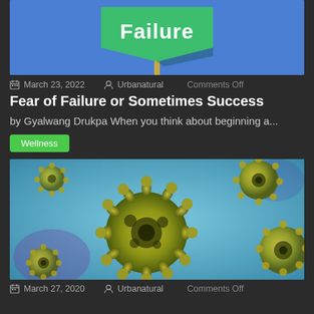[Figure (photo): Partial view of a 'Failure' road sign on a blue background, sign post visible]
March 23, 2022  Urbanatural  Comments Off
Fear of Failure or Sometimes Success
by Gyalwang Drukpa When you think about beginning a...
Wellness
[Figure (photo): Close-up 3D rendered illustration of coronavirus particles, yellow-green spiky spheres on teal/blue background]
March 27, 2020  Urbanatural  Comments Off